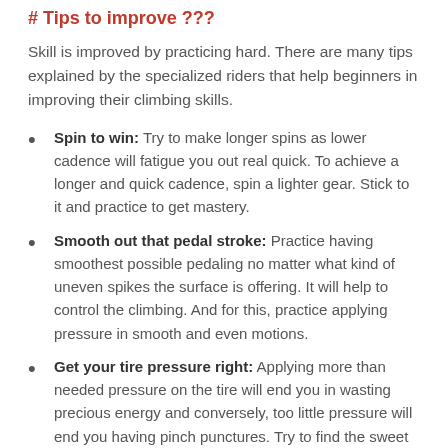# Tips to improve ????
Skill is improved by practicing hard. There are many tips explained by the specialized riders that help beginners in improving their climbing skills.
Spin to win: Try to make longer spins as lower cadence will fatigue you out real quick. To achieve a longer and quick cadence, spin a lighter gear. Stick to it and practice to get mastery.
Smooth out that pedal stroke: Practice having smoothest possible pedaling no matter what kind of uneven spikes the surface is offering. It will help to control the climbing. And for this, practice applying pressure in smooth and even motions.
Get your tire pressure right: Applying more than needed pressure on the tire will end you in wasting precious energy and conversely, too little pressure will end you having pinch punctures. Try to find the sweet spot for your specific bike type that will offer